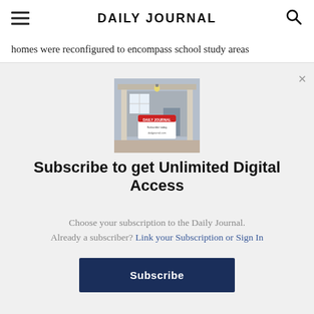DAILY JOURNAL
homes were reconfigured to encompass school study areas
[Figure (photo): A Daily Journal newspaper sign displayed on the porch of a house]
Subscribe to get Unlimited Digital Access
Choose your subscription to the Daily Journal. Already a subscriber? Link your Subscription or Sign In
Subscribe